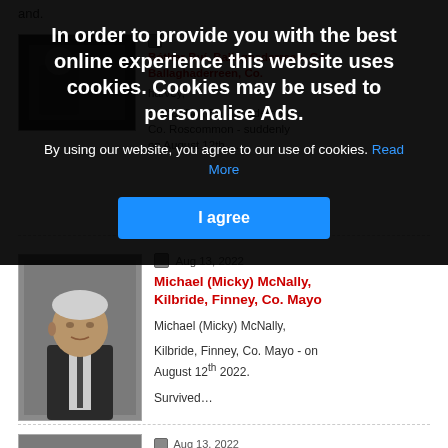and.
[Figure (screenshot): Cookie consent overlay on a website listing obituaries. The overlay has a dark semi-transparent background with white bold text: 'In order to provide you with the best online experience this website uses cookies. Cookies may be used to personalise Ads.' followed by 'By using our website, you agree to our use of cookies. Read More' and a blue 'I agree' button.]
In order to provide you with the best online experience this website uses cookies. Cookies may be used to personalise Ads.
By using our website, you agree to our use of cookies. Read More
I agree
Bóthar Buí, Ballagnaderreen, Co.
harvey,
Bóthar Buí, Ballaghaderreen, Co. Roscommon - suddenly on August 12th,...
[Figure (photo): Black and white or dark photo of an elderly man in a dark suit with white shirt and tie, photographed from the chest up]
Aug 13, 2022
Michael (Micky) McNally, Kilbride, Finney, Co. Mayo
Michael (Micky) McNally,
Kilbride, Finney, Co. Mayo - on August 12th 2022.
Survived...
Aug 13, 2022